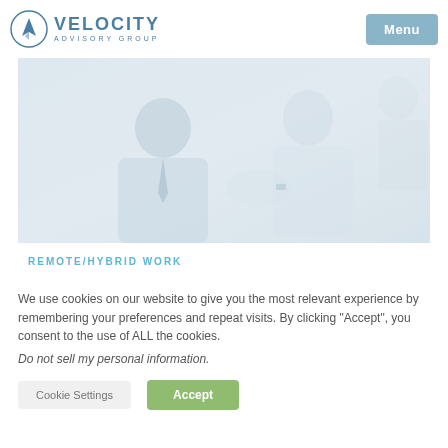Velocity Advisory Group — Menu
[Figure (photo): Two businesspeople in conversation, one gesturing with hands, semi-transparent/faded photo overlay]
REMOTE/HYBRID WORK
We use cookies on our website to give you the most relevant experience by remembering your preferences and repeat visits. By clicking "Accept", you consent to the use of ALL the cookies.
Do not sell my personal information.
Cookie Settings   Accept